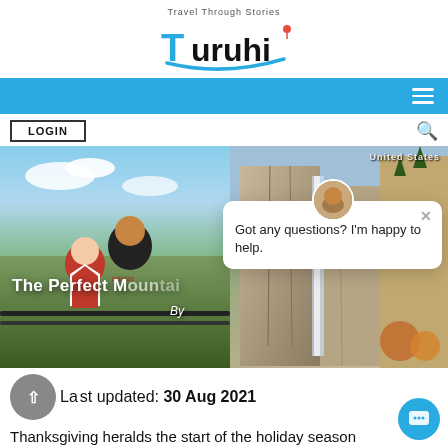Travel Through Stories
Turuhi
[Figure (screenshot): Blue navigation bar with hamburger menu icon on the right]
LOGIN
[Figure (photo): Hero image showing a couple posing at a scenic overlook with cliffs and waterfall in background. United States label in top right. Title 'The Perfect M...' and 'By' overlaid on image. Chat popup overlay with avatar, close button, and text 'Got any questions? I'm happy to help.']
Last updated: 30 Aug 2021
Thanksgiving heralds the start of the holiday season